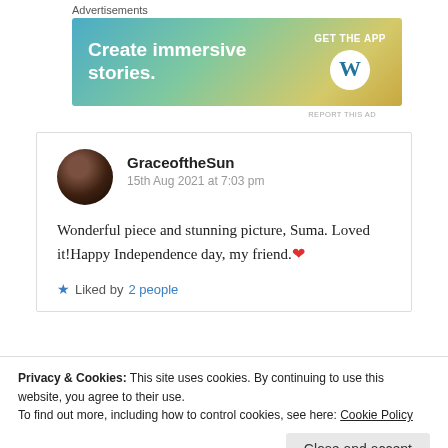Advertisements
[Figure (screenshot): WordPress advertisement banner: 'Create immersive stories. GET THE APP' with WordPress logo]
REPORT THIS AD
GraceoftheSun
15th Aug 2021 at 7:03 pm

Wonderful piece and stunning picture, Suma. Loved it!Happy Independence day, my friend. ❤

★ Liked by 2 people
Privacy & Cookies: This site uses cookies. By continuing to use this website, you agree to their use.
To find out more, including how to control cookies, see here: Cookie Policy

Close and accept